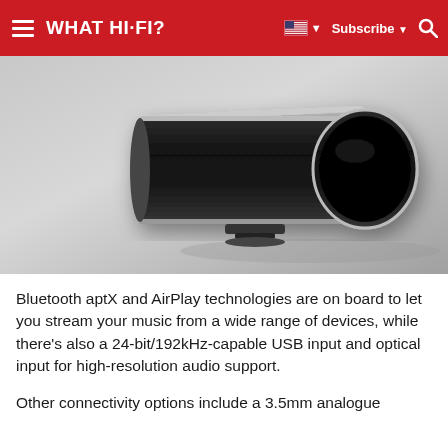WHAT HI-FI?
[Figure (photo): A sleek black cylindrical speaker with a rounded end, photographed on a light grey background. The speaker has a metallic edge trim and sits on a small stand.]
Bluetooth aptX and AirPlay technologies are on board to let you stream your music from a wide range of devices, while there's also a 24-bit/192kHz-capable USB input and optical input for high-resolution audio support.
Other connectivity options include a 3.5mm analogue